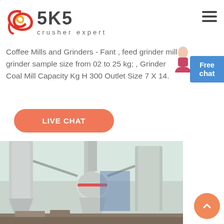SKS crusher expert
Coffee Mills and Grinders - Fant , feed grinder mill grinder sample size from 02 to 25 kg; , Grinder Coal Mill Capacity Kg H 300 Outlet Size 7 X 14.
[Figure (other): Free chat button with person avatar on right side]
[Figure (other): LIVE CHAT orange rounded button]
[Figure (photo): Industrial grinding mill equipment at a facility with large cylindrical structures and machinery]
[Figure (other): Orange scroll-to-top circle button at bottom right]